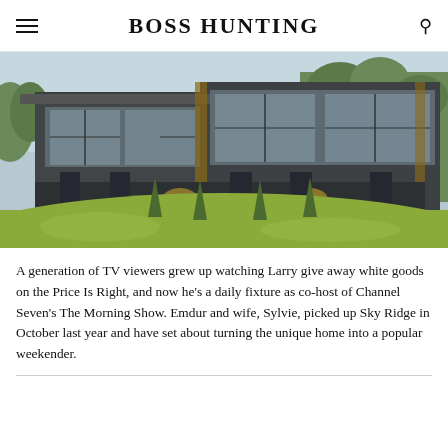BOSS HUNTING
[Figure (photo): Exterior photo of a modern multi-story dark-colored house with large glass windows set on a green hillside surrounded by trees]
A generation of TV viewers grew up watching Larry give away white goods on the Price Is Right, and now he's a daily fixture as co-host of Channel Seven's The Morning Show. Emdur and wife, Sylvie, picked up Sky Ridge in October last year and have set about turning the unique home into a popular weekender.